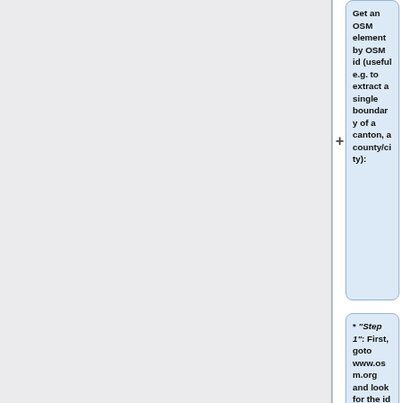Get an OSM element by OSM id (useful e.g. to extract a single boundary of a canton, a county/city):
* "Step 1": First, goto www.osm.org and look for the id and/or the exact name the area (= multipolygon), e.g. city of Uster which has relation osm_id 1682225.
* "Step 2": Prepare you Overpass query